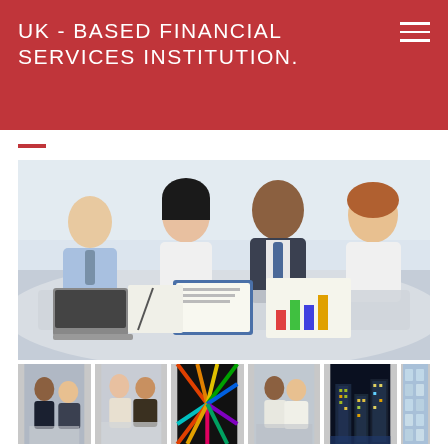UK - BASED FINANCIAL SERVICES INSTITUTION.
[Figure (photo): Four business professionals — two men and two women — seated around a conference table in a bright office. A man in a suit and tie at center is smiling. A woman is writing notes, papers and a clipboard are on the table, and a laptop is visible at left.]
[Figure (photo): Thumbnail 1: Two people in a business meeting]
[Figure (photo): Thumbnail 2: Business professionals at a table]
[Figure (photo): Thumbnail 3: Colorful abstract radiating pattern]
[Figure (photo): Thumbnail 4: Two professionals smiling]
[Figure (photo): Thumbnail 5: City buildings at night (Canary Wharf style)]
[Figure (photo): Thumbnail 6: Modern glass skyscraper exterior]